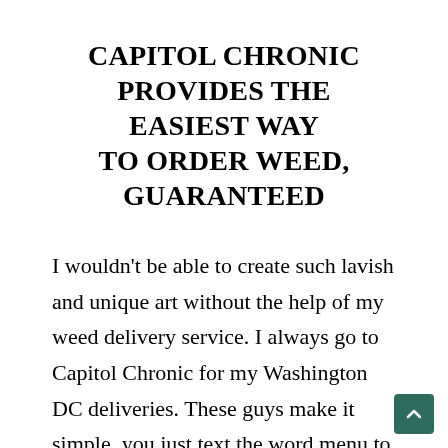CAPITOL CHRONIC PROVIDES THE EASIEST WAY TO ORDER WEED, GUARANTEED
I wouldn't be able to create such lavish and unique art without the help of my weed delivery service. I always go to Capitol Chronic for my Washington DC deliveries. These guys make it simple, you just text the word menu to their hotline number and instantly receive the most recent raffle tickets and cannabis gifts. I make my selection and send over